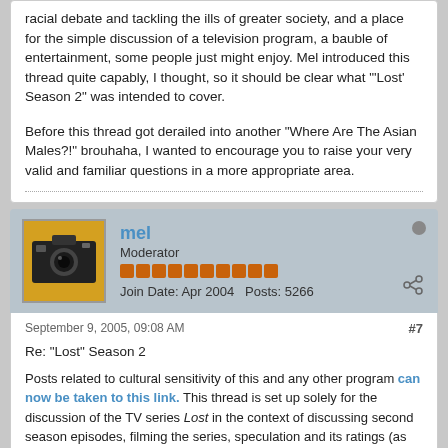racial debate and tackling the ills of greater society, and a place for the simple discussion of a television program, a bauble of entertainment, some people just might enjoy. Mel introduced this thread quite capably, I thought, so it should be clear what '"Lost' Season 2" was intended to cover.

Before this thread got derailed into another "Where Are The Asian Males?!" brouhaha, I wanted to encourage you to raise your very valid and familiar questions in a more appropriate area.
[Figure (photo): Avatar photo of user mel showing a camera on yellow background]
mel
Moderator
Join Date: Apr 2004   Posts: 5266
September 9, 2005, 09:08 AM
#7
Re: "Lost" Season 2
Posts related to cultural sensitivity of this and any other program can now be taken to this link. This thread is set up solely for the discussion of the TV series Lost in the context of discussing second season episodes, filming the series, speculation and its ratings (as outlined in the very first post to this topic).